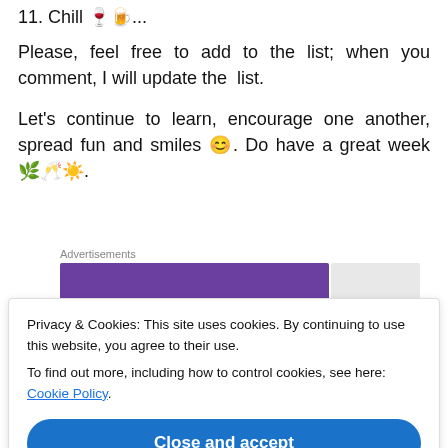11. Chill 🍷🍺...
Please, feel free to add to the list; when you comment, I will update the list.
Let's continue to learn, encourage one another, spread fun and smiles 😊. Do have a great week 🌿🥂☀️.
[Figure (other): Advertisement banner with purple background]
Privacy & Cookies: This site uses cookies. By continuing to use this website, you agree to their use.
To find out more, including how to control cookies, see here: Cookie Policy
Close and accept